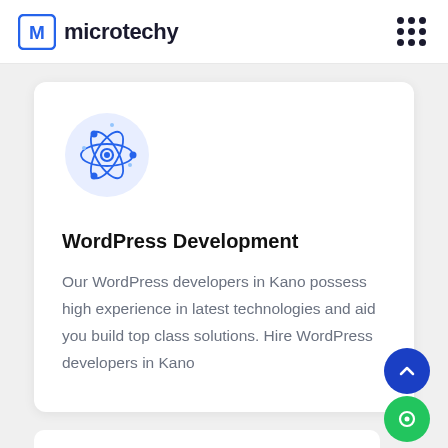microtechy
[Figure (logo): microtechy logo with stylized M icon in blue square bracket style]
[Figure (illustration): Atomic/molecule icon with blue circles and orbiting electrons on a light blue circular background]
WordPress Development
Our WordPress developers in Kano possess high experience in latest technologies and aid you build top class solutions. Hire WordPress developers in Kano